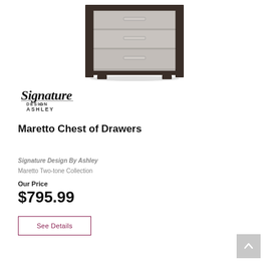[Figure (photo): Photo of a Maretto Chest of Drawers — a two-tone dresser with dark brown frame and light gray/silver drawer fronts with bar handles, shown on a white background.]
[Figure (logo): Signature Design by Ashley logo in script and sans-serif text.]
Maretto Chest of Drawers
Signature Design By Ashley
Maretto Two-tone Collection
Our Price
$795.99
See Details